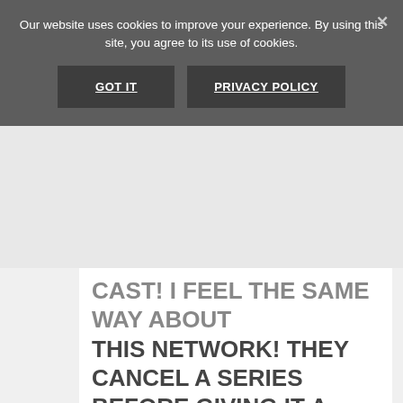Our website uses cookies to improve your experience. By using this site, you agree to its use of cookies.
GOT IT
PRIVACY POLICY
CAST! I FEEL THE SAME WAY ABOUT THIS NETWORK! THEY CANCEL A SERIES BEFORE GIVING IT A CHANCE! NOT EVERYONE WANTS TO WATCH REALITY TV OR GAME SHOWS, TALENT SHOWS! GIVE ME A GOOD CRIME DRAMA WITH A GREAT CAST AND IM IN FOR THE LONG HALL! ENOUGH ALIENS, ZOMBIES, HOUUSEWIVES, TALENT SHOWS ON WHO CAN DANCE, SING OR